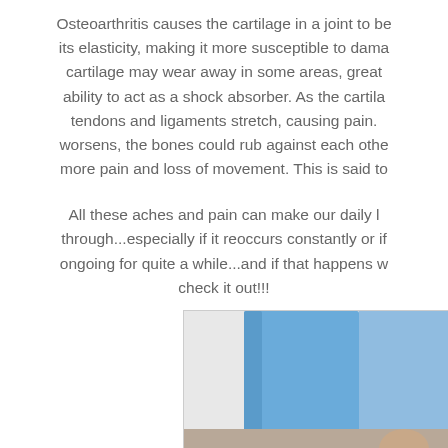Osteoarthritis causes the cartilage in a joint to be... its elasticity, making it more susceptible to dama... cartilage may wear away in some areas, great... ability to act as a shock absorber. As the cartila... tendons and ligaments stretch, causing pain. worsens, the bones could rub against each othe... more pain and loss of movement. This is said to...
All these aches and pain can make our daily l... through...especially if it reoccurs constantly or if... ongoing for quite a while...and if that happens w... check it out!!!
[Figure (photo): A person holding or using a blue yoga block or foam block, photo partially visible at bottom of page]